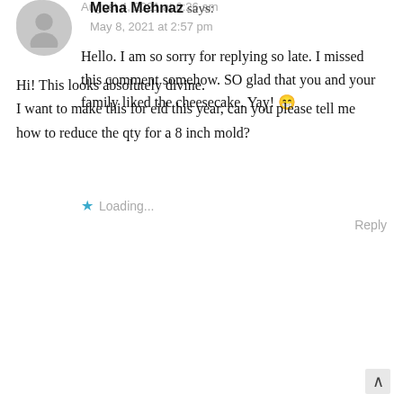August 4, 2021 at 6:26 am
Hello. I am so sorry for replying so late. I missed this comment somehow. SO glad that you and your family liked the cheesecake. Yay! 😁
Loading...
Reply
Meha Mehnaz says:
May 8, 2021 at 2:57 pm
Hi! This looks absolutely divine. I want to make this for eid this year, can you please tell me how to reduce the qty for a 8 inch mold?